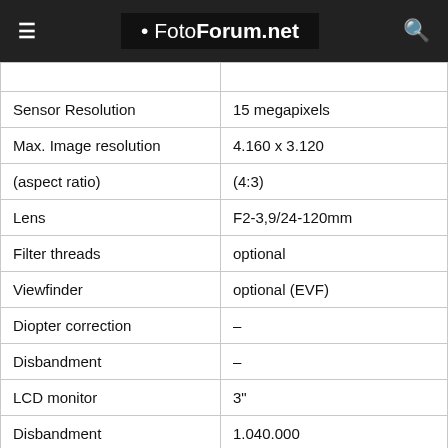• FotoForum.net
| Sensor Resolution | 15 megapixels |
| Max. Image resolution | 4.160 x 3.120 |
| (aspect ratio) | (4:3) |
| Lens | F2-3,9/24-120mm |
| Filter threads | optional |
| Viewfinder | optional (EVF) |
| Diopter correction | – |
| Disbandment | – |
| LCD monitor | 3" |
| Disbandment | 1.040.000 |
| rotatable | – |
| swivelling | yes |